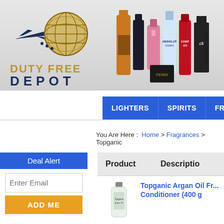[Figure (logo): Duty Free Depot logo with gold globe and airplane, text DUTY FREE DEPOT]
[Figure (photo): Banner image showing duty free products: whisky bottles, cologne, perfume, Absolut Vodka, Campari, CK fragrance]
LIGHTERS | SPIRITS | FRAG...
You Are Here : Home > Fragrances > Topganic
Deal Alert
Enter Email
ADD ME
| Product | Description |
| --- | --- |
| [product image] | Topganic Argan Oil Fr... Conditioner (400 g |
Topganic Argan Oil Fr... Conditioner (400 g